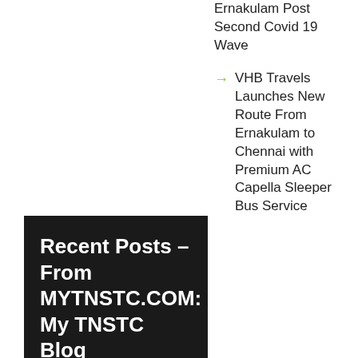Ernakulam Post Second Covid 19 Wave
VHB Travels Launches New Route From Ernakulam to Chennai with Premium AC Capella Sleeper Bus Service
Recent Posts – From MYTNSTC.COM: My TNSTC Blog
Chennai To Marthandam